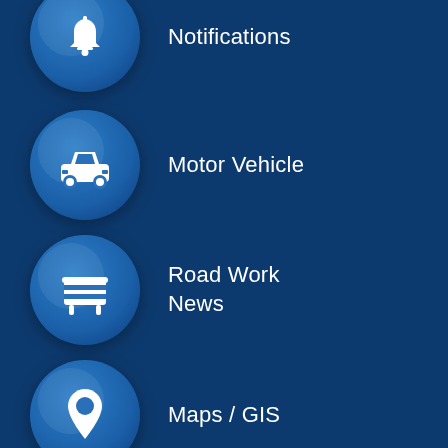[Figure (screenshot): Mobile app menu showing icon list items: Notifications (bell icon), Motor Vehicle (car icon), Road Work News (barrier icon), Maps / GIS (location pin icon), Agendas (calendar icon with 31)]
Notifications
Motor Vehicle
Road Work News
Maps / GIS
Agendas